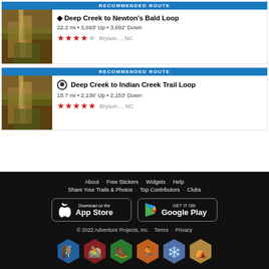RECOMMENDED ROUTE
Deep Creek to Newton's Bald Loop — 22.2 mi • 3,693' Up • 3,692' Down — ★★★★☆ Bryson..., NC
RECOMMENDED ROUTE
Deep Creek to Indian Creek Trail Loop — 15.7 mi • 2,136' Up • 2,153' Down — ★★★★½ Bryson..., NC
About · Free Stickers · Widgets · Help | Share Your Trails & Photos · Top Contributors · Clubs | Download on the App Store | GET IT ON Google Play | © 2022 Adventure Projects, Inc. Terms · Privacy